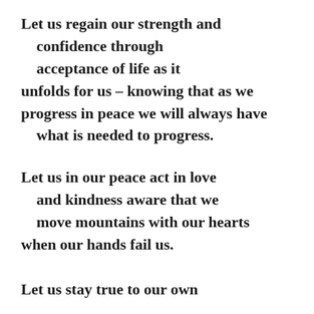Let us regain our strength and confidence through acceptance of life as it unfolds for us – knowing that as we progress in peace we will always have what is needed to progress.
Let us in our peace act in love and kindness aware that we move mountains with our hearts when our hands fail us.
Let us stay true to our own